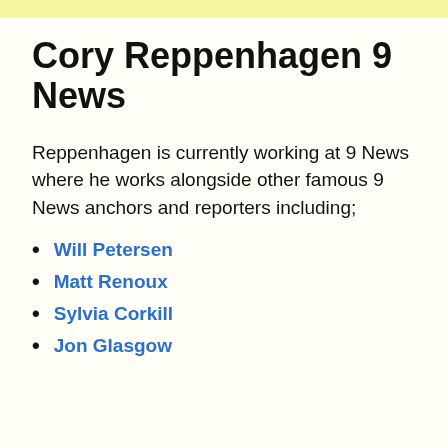Cory Reppenhagen 9 News
Reppenhagen is currently working at 9 News where he works alongside other famous 9 News anchors and reporters including;
Will Petersen
Matt Renoux
Sylvia Corkill
Jon Glasgow